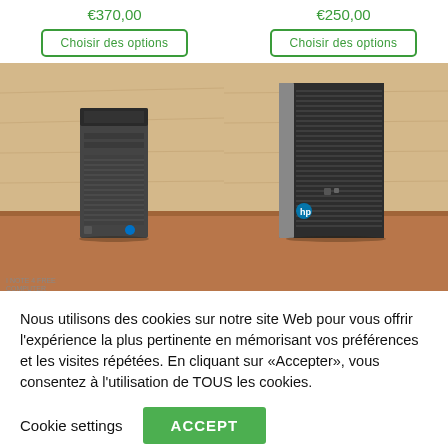€370,00
Choisir des options
€250,00
Choisir des options
[Figure (photo): Dell OptiPlex small form factor desktop computer standing upright on a wooden desk against a wood-panel wall]
[Figure (photo): HP EliteDesk small form factor desktop computer standing upright on a wooden desk against a wood-panel wall]
Nous utilisons des cookies sur notre site Web pour vous offrir l'expérience la plus pertinente en mémorisant vos préférences et les visites répétées. En cliquant sur «Accepter», vous consentez à l'utilisation de TOUS les cookies.
Cookie settings
ACCEPT